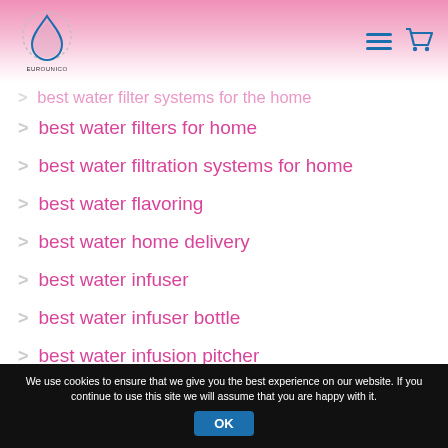EUROUNICO logo and navigation
best water filter systems for the home
best water filters for home
best water filtration systems for home
best water flavoring
best water home delivery
best water infuser
best water infuser bottle
best water infusion pitcher
We use cookies to ensure that we give you the best experience on our website. If you continue to use this site we will assume that you are happy with it. OK